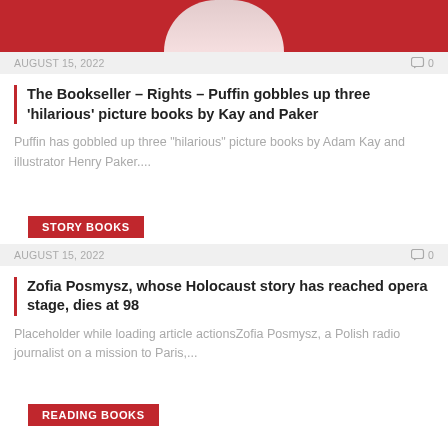[Figure (photo): Top portion of a person in a white shirt against a red background, cropped at chest level]
AUGUST 15, 2022   🗨0
The Bookseller – Rights – Puffin gobbles up three 'hilarious' picture books by Kay and Paker
Puffin has gobbled up three "hilarious" picture books by Adam Kay and illustrator Henry Paker....
STORY BOOKS
AUGUST 15, 2022   🗨0
Zofia Posmysz, whose Holocaust story has reached opera stage, dies at 98
Placeholder while loading article actionsZofia Posmysz, a Polish radio journalist on a mission to Paris,...
READING BOOKS